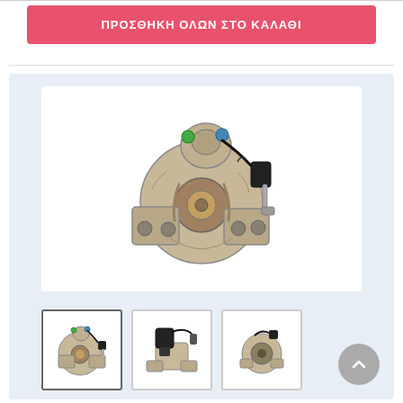ΠΡΟΣΘΗΚΗ ΟΛΩΝ ΣΤΟ ΚΑΛΑΘΙ
[Figure (photo): Main product image of an automotive starter motor, silver/metallic, with electrical connector and solenoid, shown from front angle.]
[Figure (photo): Thumbnail 1 (selected): automotive starter motor, silver/metallic, front-angle view.]
[Figure (photo): Thumbnail 2: automotive starter motor, side view, showing cylindrical body and solenoid.]
[Figure (photo): Thumbnail 3: automotive starter motor, rear/side angle.]